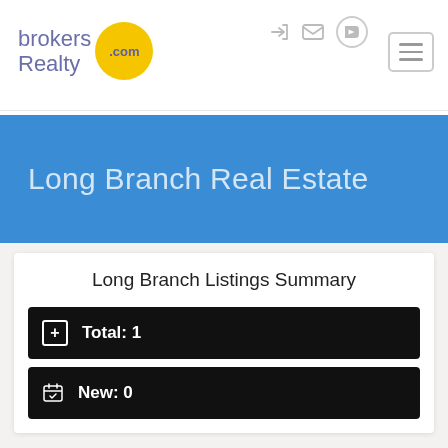brokersRealty.com
Long Branch Real Estate
Long Branch Listings Summary
Total: 1
New: 0